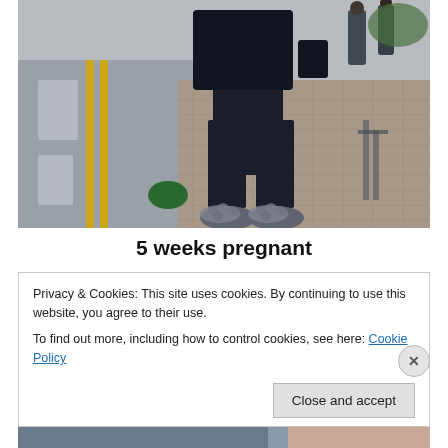[Figure (photo): Street-style photo showing a person from waist down wearing wide-leg dark navy trousers and fluffy grey mule sandals, standing on a brick pavement next to a road with yellow double lines. Other pedestrians visible in background.]
5 weeks pregnant
Privacy & Cookies: This site uses cookies. By continuing to use this website, you agree to their use.
To find out more, including how to control cookies, see here: Cookie Policy
Close and accept